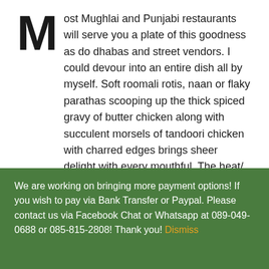Most Mughlai and Punjabi restaurants will serve you a plate of this goodness as do dhabas and street vendors. I could devour into an entire dish all by myself. Soft roomali rotis, naan or flaky parathas scooping up the thick spiced gravy of butter chicken along with succulent morsels of tandoori chicken with charred edges brings sheer delight with every mouthful. The heat/ spice of the dish combines with the rich gravy and slight sweetness that make it very hard to resist.

With most dishes that have fond memories it's the taste that lingers on even years later. Cooking Butter Chicken at home has always for me been about getting the flavours
We are working on bringing more payment options! If you wish to pay via Bank Transfer or Paypal. Please contact us via Facebook Chat or Whatsapp at 089-049-0688 or 085-815-2808! Thank you! Dismiss